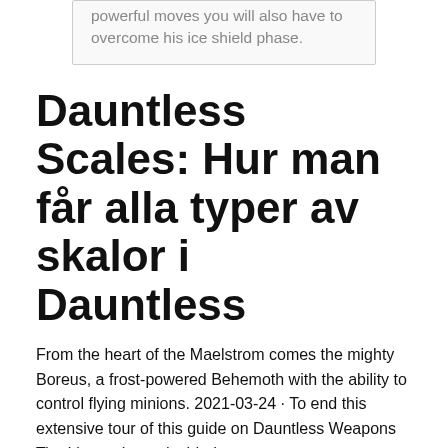powerful moves you will also have to overcome his ice shield phase.
Dauntless Scales: Hur man får alla typer av skalor i Dauntless
From the heart of the Maelstrom comes the mighty Boreus, a frost-powered Behemoth with the ability to control flying minions. 2021-03-24 · To end this extensive tour of this guide on Dauntless Weapons Tier List we have decided to save some recommendations to facilitate your game and thus be able to enjoy every moment to the fullest.